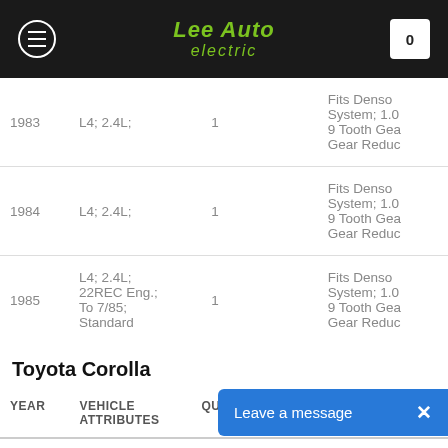Lee Auto Electric
| YEAR | VEHICLE ATTRIBUTES | QUANTITY | POSITION | PART DESCRIPTION |
| --- | --- | --- | --- | --- |
| 1983 | L4; 2.4L; | 1 |  | Fits Denso System; 1.0... 9 Tooth Gear Gear Reduc... |
| 1984 | L4; 2.4L; | 1 |  | Fits Denso System; 1.0... 9 Tooth Gear Gear Reduc... |
| 1985 | L4; 2.4L; 22REC Eng.; To 7/85; Standard | 1 |  | Fits Denso System; 1.0... 9 Tooth Gear Gear Reduc... |
Toyota Corolla
| YEAR | VEHICLE ATTRIBUTES | QUANTITY | POSITION | PART DESCRIPT... |
| --- | --- | --- | --- | --- |